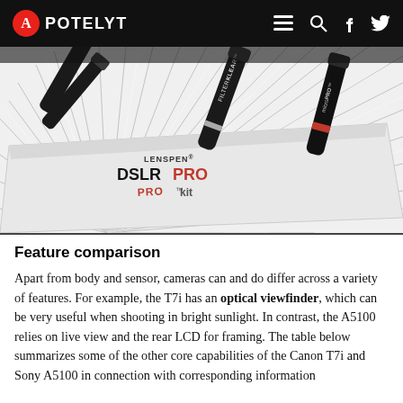APOTELYT
[Figure (photo): Product photo of LensPen DSLR PRO kit with FilterKlear and MicroPRO lens cleaning pens on a cleaning cloth, with manga-style radial burst background]
Feature comparison
Apart from body and sensor, cameras can and do differ across a variety of features. For example, the T7i has an optical viewfinder, which can be very useful when shooting in bright sunlight. In contrast, the A5100 relies on live view and the rear LCD for framing. The table below summarizes some of the other core capabilities of the Canon T7i and Sony A5100 in connection with corresponding information